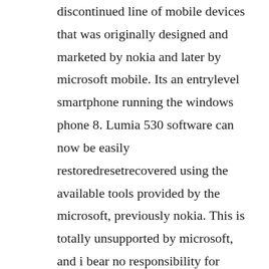discontinued line of mobile devices that was originally designed and marketed by nokia and later by microsoft mobile. Its an entrylevel smartphone running the windows phone 8. Lumia 530 software can now be easily restoredresetrecovered using the available tools provided by the microsoft, previously nokia. This is totally unsupported by microsoft, and i bear no responsibility for bricked phones, lost data, or your phone spontaneously combusting. A dialog will pop up asking you to confirm uninstallation. On cost too, the mobilephone couples up agilely